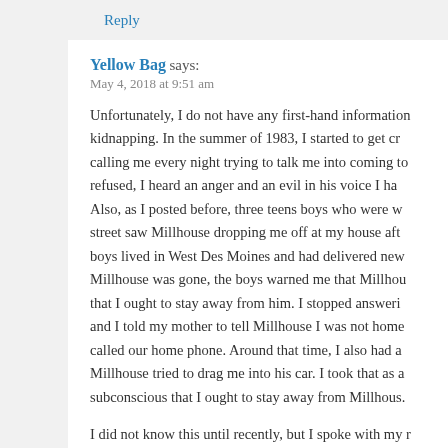Reply
Yellow Bag says:
May 4, 2018 at 9:51 am
Unfortunately, I do not have any first-hand information kidnapping. In the summer of 1983, I started to get cr calling me every night trying to talk me into coming to refused, I heard an anger and an evil in his voice I ha Also, as I posted before, three teens boys who were w street saw Millhouse dropping me off at my house aft boys lived in West Des Moines and had delivered new Millhouse was gone, the boys warned me that Millhou that I ought to stay away from him. I stopped answeri and I told my mother to tell Millhouse I was not home called our home phone. Around that time, I also had a Millhouse tried to drag me into his car. I took that as a subconscious that I ought to stay away from Millhous.
I did not know this until recently, but I spoke with my r and she actually remembers him showing up at our h was not home, shedding crocodile tears because I qu that time, Millhouse had his heart attack. I turned 16 a was able to find a better job and leave the DM Regist